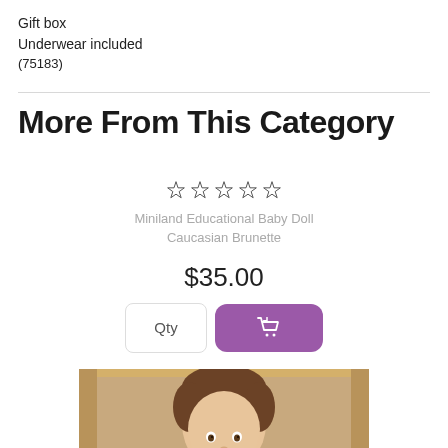Gift box
Underwear included
(75183)
More From This Category
[Figure (other): Five empty star rating icons in a row]
Miniland Educational Baby Doll Caucasian Brunette
$35.00
[Figure (other): Quantity input box labeled 'Qty' and a purple add-to-cart button with shopping cart icon]
[Figure (photo): Photo of a baby doll with brunette hair inside a cardboard box]